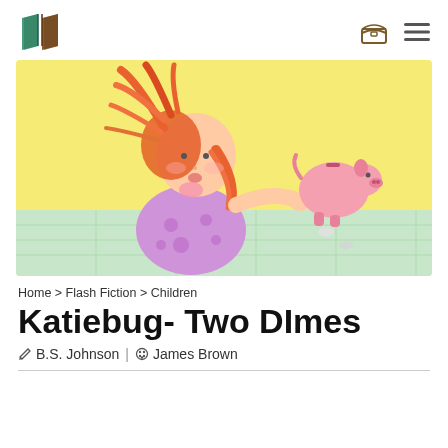Logo and navigation icons
[Figure (illustration): Children's book illustration: a girl with red/orange hair wearing purple polka-dot pajamas holds a pink piggy bank upside down, shaking out coins on a light green table, with yellow background.]
Home > Flash Fiction > Children
Katiebug- Two DImes
B.S. Johnson | James Brown